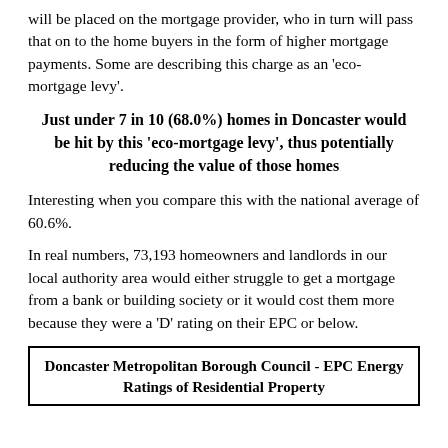will be placed on the mortgage provider, who in turn will pass that on to the home buyers in the form of higher mortgage payments. Some are describing this charge as an 'eco-mortgage levy'.
Just under 7 in 10 (68.0%) homes in Doncaster would be hit by this 'eco-mortgage levy', thus potentially reducing the value of those homes
Interesting when you compare this with the national average of 60.6%.
In real numbers, 73,193 homeowners and landlords in our local authority area would either struggle to get a mortgage from a bank or building society or it would cost them more because they were a 'D' rating on their EPC or below.
Doncaster Metropolitan Borough Council - EPC Energy Ratings of Residential Property